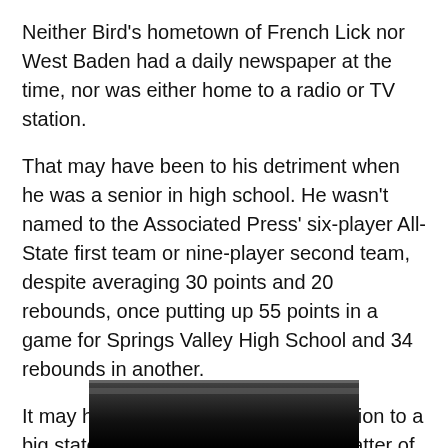Neither Bird's hometown of French Lick nor West Baden had a daily newspaper at the time, nor was either home to a radio or TV station.
That may have been to his detriment when he was a senior in high school. He wasn't named to the Associated Press' six-player All-State first team or nine-player second team, despite averaging 30 points and 20 rebounds, once putting up 55 points in a game for Springs Valley High School and 34 rebounds in another.
It may have also hurt him in his transition to a big state school, where he lasted a matter of weeks after the start of the school year.
[Figure (photo): A dark/dimly lit indoor scene, partially visible at the bottom of the page.]